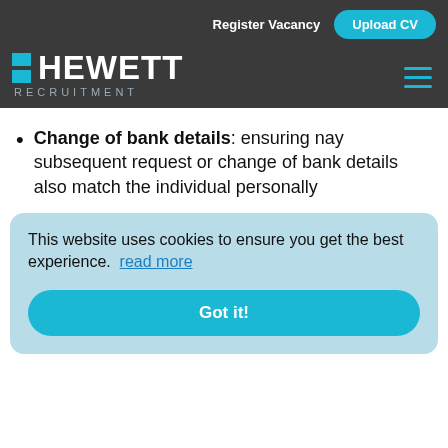Register Vacancy  Upload CV
[Figure (logo): Hewett Recruitment logo with cyan squares and white text on dark grey background, with hamburger menu icon]
Change of bank details: ensuring nay subsequent request or change of bank details also match the individual personally
This website uses cookies to ensure you get the best experience. read more  Got it!